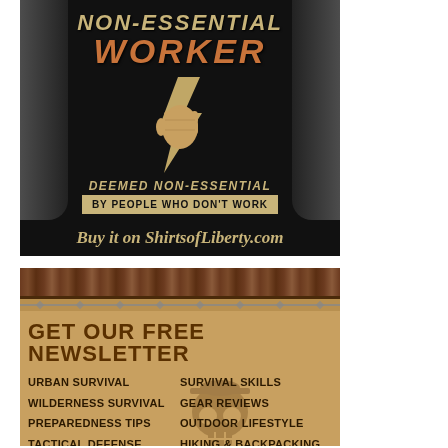[Figure (illustration): T-shirt advertisement on ShirtsofLiberty.com showing a black t-shirt with text 'NON-ESSENTIAL WORKER' and a graphic of a fist holding a lightning bolt, with text 'DEEMED NON-ESSENTIAL BY PEOPLE WHO DON'T WORK'. Below is a bar reading 'Buy it on ShirtsofLiberty.com' in gold italic text.]
[Figure (infographic): Newsletter sign-up advertisement with wooden top border, gold/tan background, text 'GET OUR FREE NEWSLETTER' in large dark letters, listing topics: Urban Survival, Wilderness Survival, Preparedness Tips, Tactical Defense, Survival Skills, Gear Reviews, Outdoor Lifestyle, Hiking & Backpacking. A skull/face watermark is visible in the background.]